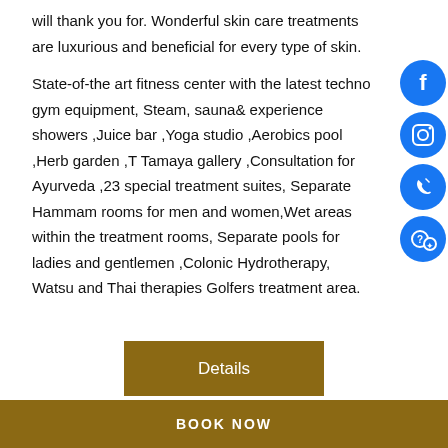will thank you for. Wonderful skin care treatments are luxurious and beneficial for every type of skin.
State-of-the art fitness center with the latest techno gym equipment, Steam, sauna& experience showers ,Juice bar ,Yoga studio ,Aerobics pool ,Herb garden ,T Tamaya gallery ,Consultation for Ayurveda ,23 special treatment suites, Separate Hammam rooms for men and women,Wet areas within the treatment rooms, Separate pools for ladies and gentlemen ,Colonic Hydrotherapy, Watsu and Thai therapies Golfers treatment area.
Details
BOOK NOW